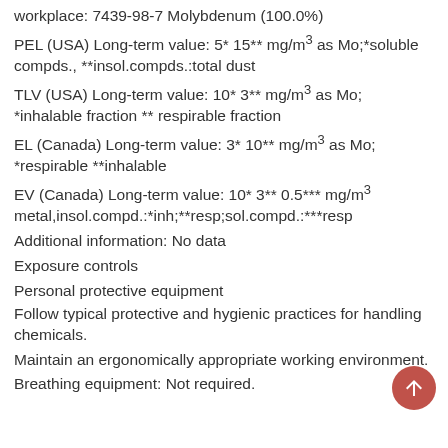workplace: 7439-98-7 Molybdenum (100.0%)
PEL (USA) Long-term value: 5* 15** mg/m3 as Mo;*soluble compds., **insol.compds.:total dust
TLV (USA) Long-term value: 10* 3** mg/m3 as Mo; *inhalable fraction ** respirable fraction
EL (Canada) Long-term value: 3* 10** mg/m3 as Mo; *respirable **inhalable
EV (Canada) Long-term value: 10* 3** 0.5*** mg/m3 metal,insol.compd.:*inh;**resp;sol.compd.:***resp
Additional information: No data
Exposure controls
Personal protective equipment
Follow typical protective and hygienic practices for handling chemicals.
Maintain an ergonomically appropriate working environment.
Breathing equipment: Not required.